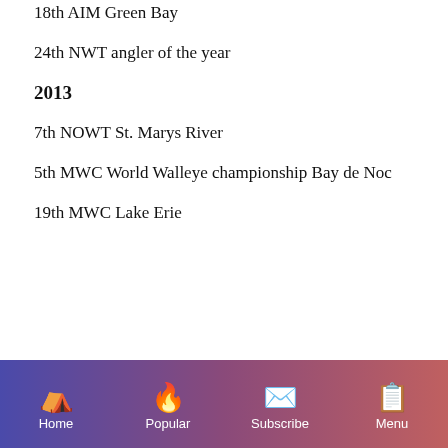18th AIM Green Bay
24th NWT angler of the year
2013
7th NOWT St. Marys River
5th MWC World Walleye championship Bay de Noc
19th MWC Lake Erie
Home  Popular  Subscribe  Menu